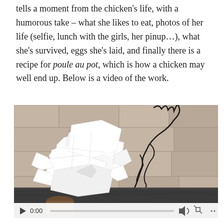tells a moment from the chicken's life, with a humorous take – what she likes to eat, photos of her life (selfie, lunch with the girls, her pinup...), what she's survived, eggs she's laid, and finally there is a recipe for poule au pot, which is how a chicken may well end up. Below is a video of the work.
[Figure (photo): A video player showing a sculptural artwork: a chicken-shaped figure made from folded white papers with a black wire comb/crest, placed on a dark wooden surface against a stone wall background. Video controls show 0:00 timestamp.]